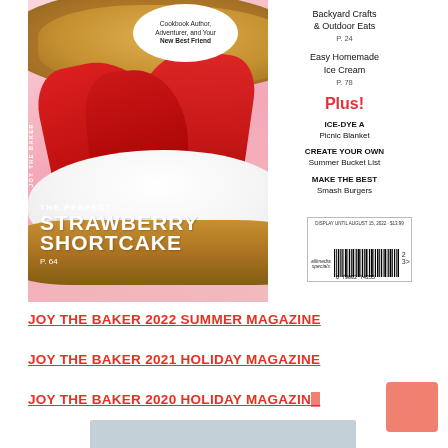[Figure (photo): Magazine cover of Joy the Baker 2022 Summer issue featuring a strawberry shortcake with biscuits, whipped cream, and fresh strawberries on a pink background. Right panel lists articles: Backyard Crafts & Outdoor Eats P.24, Easy Homemade Ice Cream P.78, Plus! ICE-DYE A Picnic Blanket, CREATE YOUR OWN Summer Bucket List, MAKE THE BEST Smash Burgers. Bottom left text: THE PERFECT STRAWBERRY SHORTCAKE P. 64. Barcode in bottom right.]
JOY THE BAKER 2022 SUMMER MAGAZINE
JOY THE BAKER 2021 HOLIDAY MAGAZINE
JOY THE BAKER 2020 HOLIDAY MAGAZINE